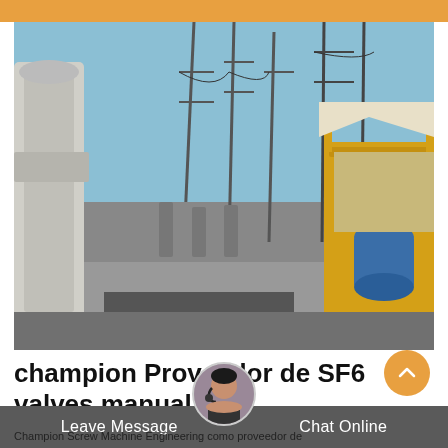[Figure (photo): Industrial electrical substation yard with large white pipe/equipment on the left side, gas cylinders/tanks in the middle, high voltage towers/pylons in background, and a yellow truck or crane vehicle on the right carrying blue industrial equipment, under a clear blue sky.]
champion Proveedor de SF6 valves manual
Champion Screw Machine Engineering como proveedor de
Leave Message   Chat Online